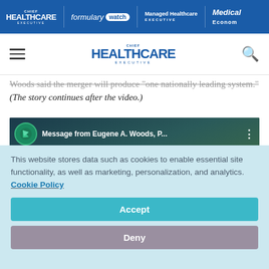Chief Healthcare Executive | Formulary Watch | Managed Healthcare Executive | Medical Economics
[Figure (logo): Chief Healthcare Executive navigation bar with hamburger menu and search icon]
Woods said the merger will produce "one nationally leading system." (The story continues after the video.)
[Figure (screenshot): YouTube video thumbnail: Message from Eugene A. Woods, P... showing two men facing each other with Advocate Aurora Health and Atrium Health logos in background]
This website stores data such as cookies to enable essential site functionality, as well as marketing, personalization, and analytics. Cookie Policy
Accept
Deny